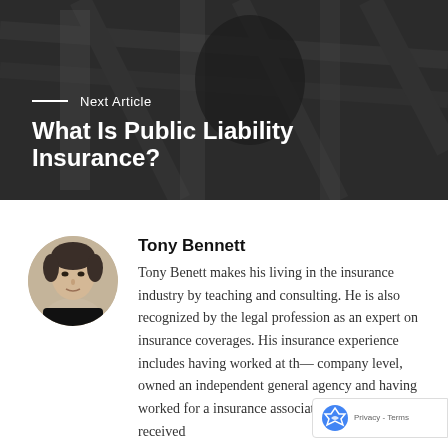[Figure (photo): Hero image of a person in a dark suit viewed from above, with office shelving/filing in background, overlaid with dark overlay. Contains 'Next Article' label and article title.]
What Is Public Liability Insurance?
Next Article
[Figure (photo): Circular headshot of Tony Bennett, a man with dark hair, against a light background.]
Tony Bennett
Tony Benett makes his living in the insurance industry by teaching and consulting. He is also recognized by the legal profession as an expert on insurance coverages. His insurance experience includes having worked at the company level, owned an independent general agency and having worked for a insurance association. He has received